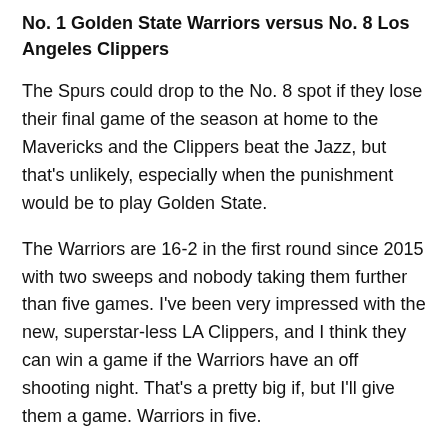No. 1 Golden State Warriors versus No. 8 Los Angeles Clippers
The Spurs could drop to the No. 8 spot if they lose their final game of the season at home to the Mavericks and the Clippers beat the Jazz, but that’s unlikely, especially when the punishment would be to play Golden State.
The Warriors are 16-2 in the first round since 2015 with two sweeps and nobody taking them further than five games. I’ve been very impressed with the new, superstar-less LA Clippers, and I think they can win a game if the Warriors have an off shooting night. That’s a pretty big if, but I’ll give them a game. Warriors in five.
No. 2 Denver Nuggets versus No. 7 San Antonio Spurs
The Spurs may have replaced Leonard with DeMar DeRozan